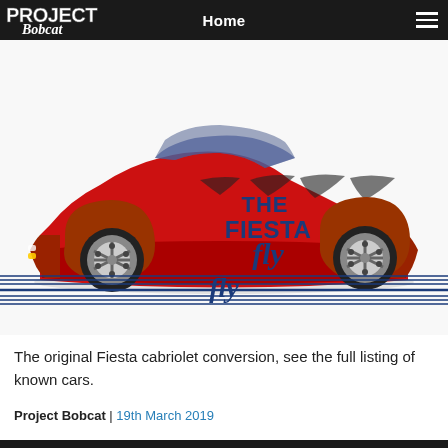Project Bobcat | Home
[Figure (photo): Red Ford Fiesta Fly cabriolet conversion car shown in side profile on white background, with the 'Project Bobcat' logo overlay in top left and 'THE FIESTA fly' branding with horizontal blue stripes below the car]
The original Fiesta cabriolet conversion, see the full listing of known cars.
Project Bobcat | 19th March 2019
PROJECT BOBCAT